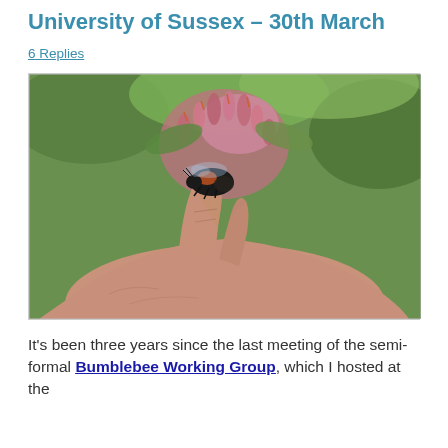University of Sussex – 30th March
6 Replies
[Figure (photo): A close-up photograph of a bumblebee sitting on a person's hand/finger, with pink flower buds and green leaves in the background.]
It's been three years since the last meeting of the semi-formal Bumblebee Working Group, which I hosted at the